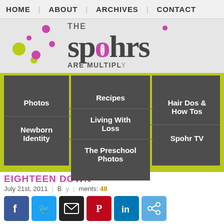HOME | ABOUT | ARCHIVES | CONTACT
[Figure (logo): The Spohrs Are Multiplying blog logo with colorful dot decorations, pink and yellow-green circles, serif brand name]
[Figure (screenshot): Dropdown navigation menu with dark gray background panels showing: Photos, Newborn Identity, Recipes, Living With Loss, The Preschool Photos, Hair Dos & How Tos, Spohr TV]
EIGHTEEN DOW[N]
July 21st, 2011   B[y]   [Com]ments: 48
[Figure (infographic): Row of social media sharing icons: Facebook (blue), Twitter (light blue), Email (black), Pinterest (red), LinkedIn (blue), Share (teal)]
Yesterday Annie had her eighteen month well baby visit. Eighteen[...]